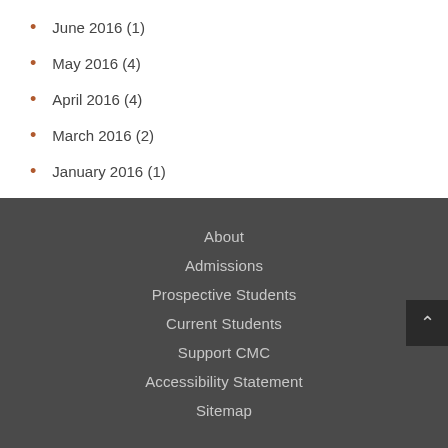June 2016 (1)
May 2016 (4)
April 2016 (4)
March 2016 (2)
January 2016 (1)
About
Admissions
Prospective Students
Current Students
Support CMC
Accessibility Statement
Sitemap